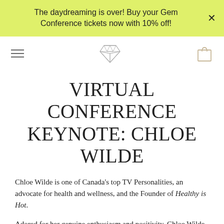The daydreaming is over! Buy your Gem Conference tickets now with 10% off!
[Figure (logo): Navigation bar with hamburger menu icon, diamond gem logo in center, and shopping bag icon on the right]
VIRTUAL CONFERENCE KEYNOTE: CHLOE WILDE
Chloe Wilde is one of Canada's top TV Personalities, an advocate for health and wellness, and the Founder of Healthy is Hot.
Adored for her genuine enthusiasm and positivity, Chloe Wilde emerged in 2013 as the winner of the Much VJ Search and has since become the face of some recognitions and…